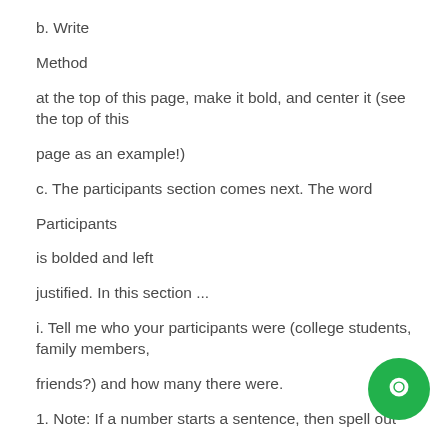b. Write
Method
at the top of this page, make it bold, and center it (see the top of this
page as an example!)
c. The participants section comes next. The word
Participants
is bolded and left
justified. In this section ...
i. Tell me who your participants were (college students, family members,
friends?) and how many there were.
1. Note: If a number starts a sentence, then spell out